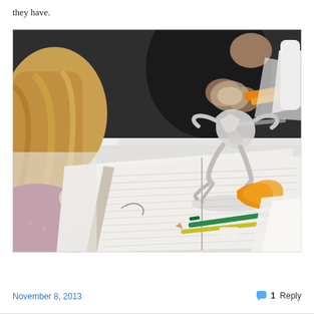they have.
[Figure (photo): Students at a desk working on a paper sculpture. A crumpled paper figure stands on an open notebook. A person with blonde hair holds a roll of masking tape. Scissors, pens, and craft tools are visible on the white table. Another person in a black shirt is visible in the background.]
November 8, 2013   💬 1 Reply